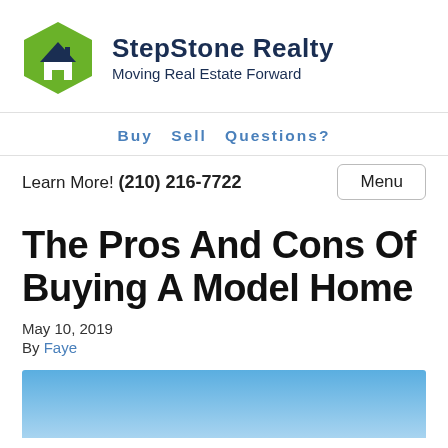[Figure (logo): StepStone Realty logo: green hexagon with white house icon, company name 'StepStone Realty' in dark navy bold, tagline 'Moving Real Estate Forward']
Buy  Sell  Questions?
Learn More! (210) 216-7722
The Pros And Cons Of Buying A Model Home
May 10, 2019
By Faye
[Figure (photo): Partial view of a blue sky gradient image, likely a house or real estate photo]